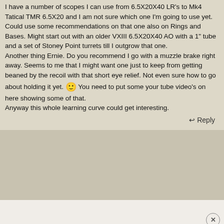I have a number of scopes I can use from 6.5X20X40 LR's to Mk4 Tatical TMR 6.5X20 and I am not sure which one I'm going to use yet. Could use some recommendations on that one also on Rings and Bases. Might start out with an older VXIII 6.5X20X40 AO with a 1" tube and a set of Stoney Point turrets till I outgrow that one.
Another thing Ernie. Do you recommend I go with a muzzle brake right away. Seems to me that I might want one just to keep from getting beaned by the recoil with that short eye relief. Not even sure how to go about holding it yet. 🙂 You need to put some your tube video's on here showing some of that.
Anyway this whole learning curve could get interesting.
↩ Reply